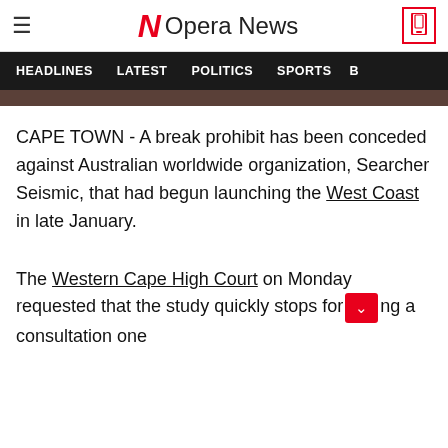Opera News
HEADLINES  LATEST  POLITICS  SPORTS
CAPE TOWN - A break prohibit has been conceded against Australian worldwide organization, Searcher Seismic, that had begun launching the West Coast in late January.
The Western Cape High Court on Monday requested that the study quickly stops for [pending] a consultation one